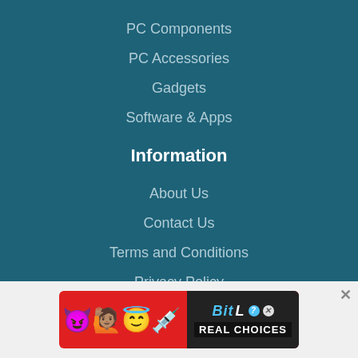PC Components
PC Accessories
Gadgets
Software & Apps
Information
About Us
Contact Us
Terms and Conditions
Privacy Policy
[Figure (screenshot): BitLife mobile game advertisement banner with emojis (devil, person with raised hands, angel face, sperm) on red background and BitLife REAL CHOICES text on dark background]